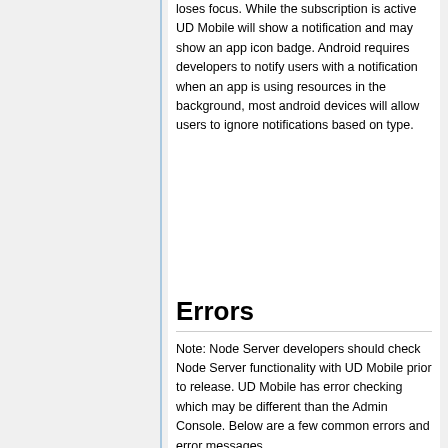loses focus. While the subscription is active UD Mobile will show a notification and may show an app icon badge. Android requires developers to notify users with a notification when an app is using resources in the background, most android devices will allow users to ignore notifications based on type.
Errors
Note: Node Server developers should check Node Server functionality with UD Mobile prior to release. UD Mobile has error checking which may be different than the Admin Console. Below are a few common errors and error messages.